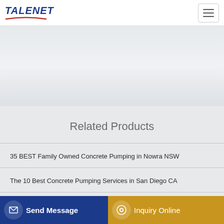TALENET
Related Products
35 BEST Family Owned Concrete Pumping in Nowra NSW
The 10 Best Concrete Pumping Services in San Diego CA
Multiple concrete pump trucks front side and top
Caribou Concrete Pumping
Send Message
Inquiry Online